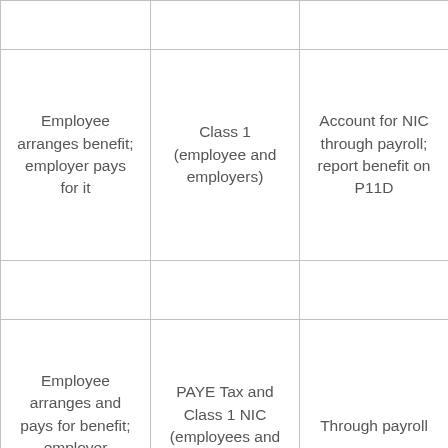|  |  |  |
| Employee arranges benefit; employer pays for it | Class 1 (employee and employers) | Account for NIC through payroll; report benefit on P11D |
|  |  |  |
| Employee arranges and pays for benefit; employer reimburses | PAYE Tax and Class 1 NIC (employees and employers) | Through payroll |